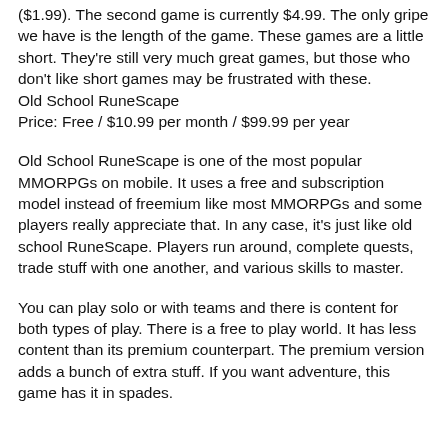($1.99). The second game is currently $4.99. The only gripe we have is the length of the game. These games are a little short. They're still very much great games, but those who don't like short games may be frustrated with these. Old School RuneScape
Price: Free / $10.99 per month / $99.99 per year
Old School RuneScape is one of the most popular MMORPGs on mobile. It uses a free and subscription model instead of freemium like most MMORPGs and some players really appreciate that. In any case, it's just like old school RuneScape. Players run around, complete quests, trade stuff with one another, and various skills to master.
You can play solo or with teams and there is content for both types of play. There is a free to play world. It has less content than its premium counterpart. The premium version adds a bunch of extra stuff. If you want adventure, this game has it in spades.